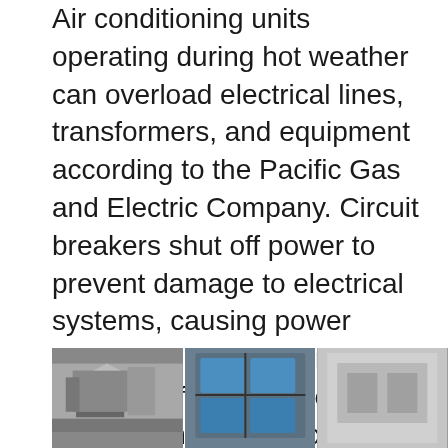Air conditioning units operating during hot weather can overload electrical lines, transformers, and equipment according to the Pacific Gas and Electric Company. Circuit breakers shut off power to prevent damage to electrical systems, causing power outages. If operating reserves run low, different city officials can also institute blackouts by shutting off power to some areas and leave Texans in the dark for long periods of time. Blackouts during heat waves endanger lives as they expose vulnerable populations to heat exhaustion and stroke.
[Figure (photo): Three photos side by side showing air conditioning units and electrical equipment]